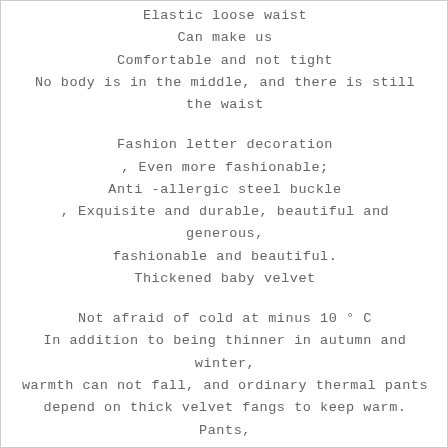Elastic loose waist
Can make us
Comfortable and not tight
No body is in the middle, and there is still the waist
Fashion letter decoration
, Even more fashionable;
Anti -allergic steel buckle
, Exquisite and durable, beautiful and generous,
fashionable and beautiful.
Thickened baby velvet
Not afraid of cold at minus 10 ° C
In addition to being thinner in autumn and winter,
warmth can not fall, and ordinary thermal pants
depend on thick velvet fangs to keep warm. Pants,
using